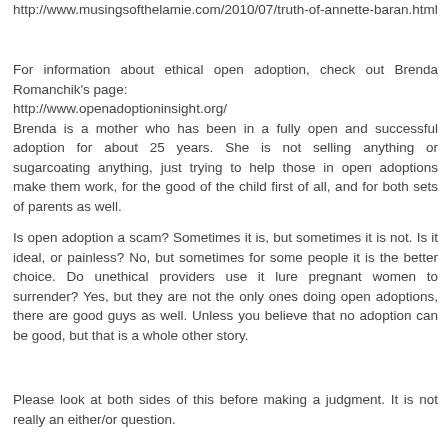http://www.musingsofthelamie.com/2010/07/truth-of-annette-baran.html
For information about ethical open adoption, check out Brenda Romanchik's page:
http://www.openadoptioninsight.org/
Brenda is a mother who has been in a fully open and successful adoption for about 25 years. She is not selling anything or sugarcoating anything, just trying to help those in open adoptions make them work, for the good of the child first of all, and for both sets of parents as well.
Is open adoption a scam? Sometimes it is, but sometimes it is not. Is it ideal, or painless? No, but sometimes for some people it is the better choice. Do unethical providers use it lure pregnant women to surrender? Yes, but they are not the only ones doing open adoptions, there are good guys as well. Unless you believe that no adoption can be good, but that is a whole other story.
Please look at both sides of this before making a judgment. It is not really an either/or question.